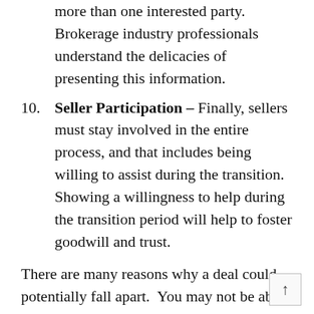more than one interested party. Brokerage industry professionals understand the delicacies of presenting this information.
10. Seller Participation – Finally, sellers must stay involved in the entire process, and that includes being willing to assist during the transition. Showing a willingness to help during the transition period will help to foster goodwill and trust.
There are many reasons why a deal could potentially fall apart. You may not be able to control every single variable, but by following the ten key tips outlined in this article, you will be well on your way to increasing your chances of successfully completing a deal.